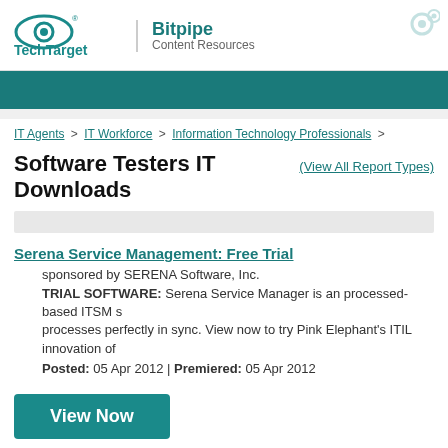[Figure (logo): TechTarget and Bitpipe Content Resources logo with gear icon in top right]
IT Agents > IT Workforce > Information Technology Professionals >
Software Testers IT Downloads  (View All Report Types)
Serena Service Management: Free Trial
sponsored by SERENA Software, Inc.
TRIAL SOFTWARE: Serena Service Manager is an processed-based ITSM s... processes perfectly in sync. View now to try Pink Elephant's ITIL innovation of
Posted: 05 Apr 2012 | Premiered: 05 Apr 2012
View Now